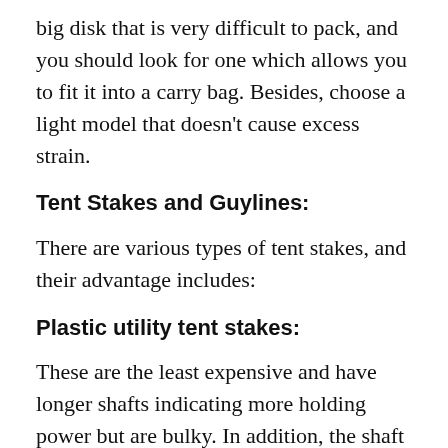big disk that is very difficult to pack, and you should look for one which allows you to fit it into a carry bag. Besides, choose a light model that doesn't cause excess strain.
Tent Stakes and Guylines:
There are various types of tent stakes, and their advantage includes:
Plastic utility tent stakes:
These are the least expensive and have longer shafts indicating more holding power but are bulky. In addition, the shaft shape doesn't twist in soil. These are perfect for car